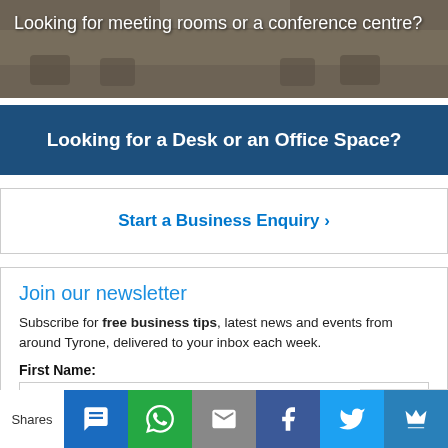[Figure (photo): Photo of a conference room with a long table and chairs, with text overlay 'Looking for meeting rooms or a conference centre?']
Looking for meeting rooms or a conference centre?
Looking for a Desk or an Office Space?
Start a Business Enquiry >
Join our newsletter
Subscribe for free business tips, latest news and events from around Tyrone, delivered to your inbox each week.
First Name:
Email address:
Shares